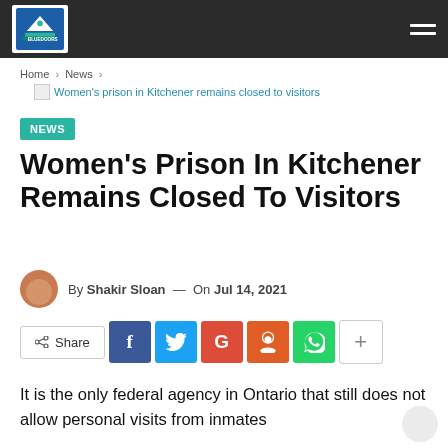BluedoorsRS logo and navigation
Home > News >
Women's prison in Kitchener remains closed to visitors
NEWS
Women's Prison In Kitchener Remains Closed To Visitors
By Shakir Sloan — On Jul 14, 2021
Share [Facebook] [Twitter] [Google+] [Reddit] [WhatsApp] [+]
It is the only federal agency in Ontario that still does not allow personal visits from inmates